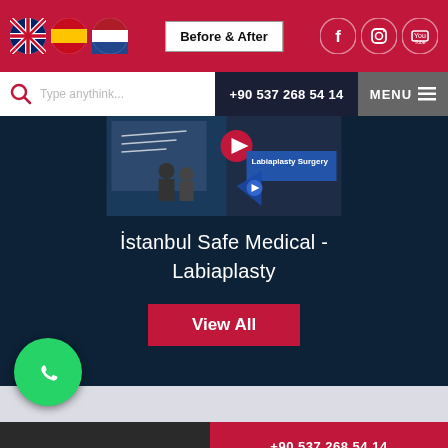Before & After
+90 537 268 54 14
MENU
[Figure (screenshot): Video thumbnail showing two people at a desk with text overlay 'Labiaplasty Surgery']
İstanbul Safe Medical - Labiaplasty
View All
[Figure (photo): Partial photo visible at bottom of page]
+90 537 268 54 14